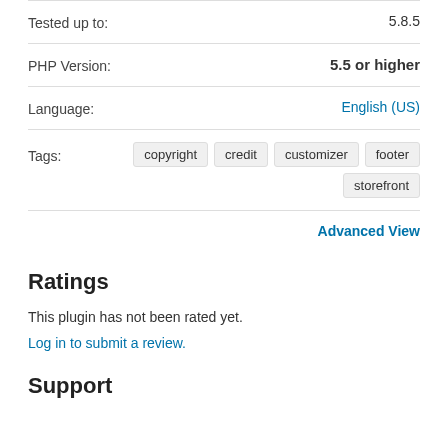Tested up to: 5.8.5
PHP Version: 5.5 or higher
Language: English (US)
Tags: copyright credit customizer footer storefront
Advanced View
Ratings
This plugin has not been rated yet.
Log in to submit a review.
Support